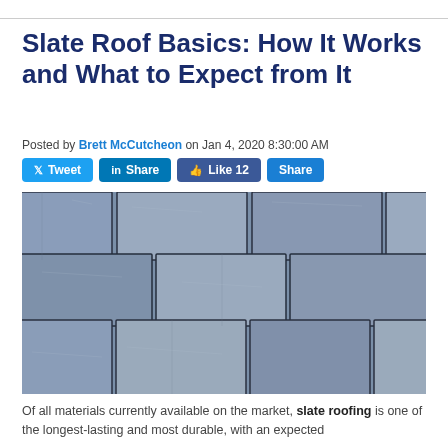Slate Roof Basics: How It Works and What to Expect from It
Posted by Brett McCutcheon on Jan 4, 2020 8:30:00 AM
[Figure (photo): Close-up photo of grey slate roof tiles overlapping in rows]
Of all materials currently available on the market, slate roofing is one of the longest-lasting and most durable, with an expected